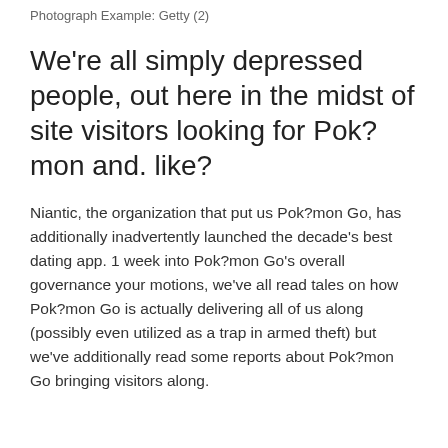Photograph Example: Getty (2)
We're all simply depressed people, out here in the midst of site visitors looking for Pok?mon and. like?
Niantic, the organization that put us Pok?mon Go, has additionally inadvertently launched the decade's best dating app. 1 week into Pok?mon Go's overall governance your motions, we've all read tales on how Pok?mon Go is actually delivering all of us along (possibly even utilized as a trap in armed theft) but we've additionally read some reports about Pok?mon Go bringing visitors along.